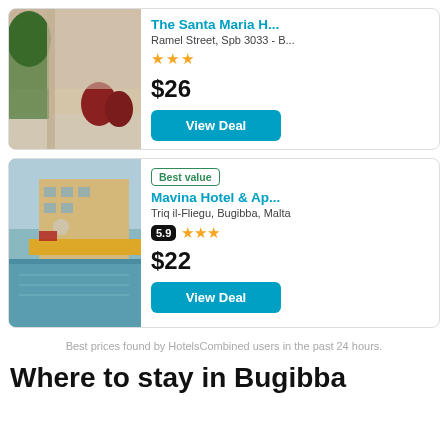[Figure (photo): Hotel lobby interior photo with plants and red chairs]
The Santa Maria H...
Ramel Street, Spb 3033 - B...
★★★
$26
View Deal
[Figure (photo): Hotel pool area with yellow awning and building exterior]
Best value
Mavina Hotel & Ap...
Triq il-Fliegu, Bugibba, Malta
5.9 ★★★
$22
View Deal
Best prices found by HotelsCombined users in the past 24 hours.
Where to stay in Bugibba